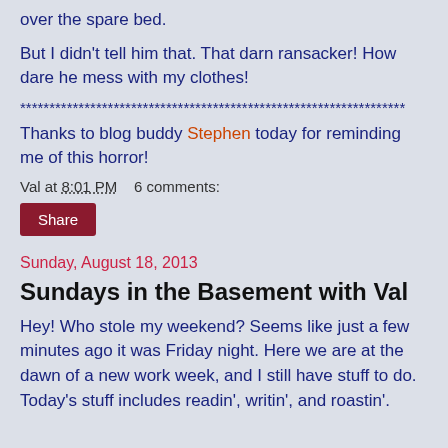over the spare bed.
But I didn't tell him that. That darn ransacker! How dare he mess with my clothes!
******************************************************************
Thanks to blog buddy Stephen today for reminding me of this horror!
Val at 8:01 PM    6 comments:
Share
Sunday, August 18, 2013
Sundays in the Basement with Val
Hey! Who stole my weekend? Seems like just a few minutes ago it was Friday night. Here we are at the dawn of a new work week, and I still have stuff to do. Today's stuff includes readin', writin', and roastin'.